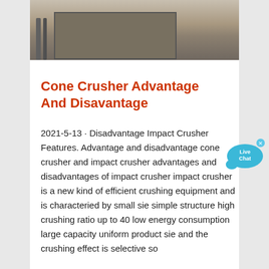[Figure (photo): Photo of construction or industrial equipment site, showing metal railings and structural components on a concrete surface]
Cone Crusher Advantage And Disavantage
2021-5-13 · Disadvantage Impact Crusher Features. Advantage and disadvantage cone crusher and impact crusher advantages and disadvantages of impact crusher impact crusher is a new kind of efficient crushing equipment and is characteried by small sie simple structure high crushing ratio up to 40 low energy consumption large capacity uniform product sie and the crushing effect is selective so